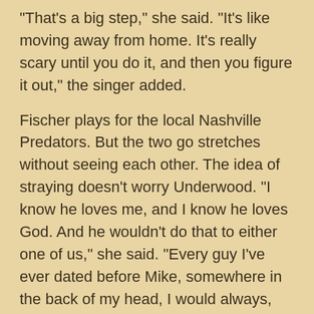"That's a big step," she said. "It's like moving away from home. It's really scary until you do it, and then you figure it out," the singer added.
Fischer plays for the local Nashville Predators. But the two go stretches without seeing each other. The idea of straying doesn't worry Underwood. "I know he loves me, and I know he loves God. And he wouldn't do that to either one of us," she said. "Every guy I've ever dated before Mike, somewhere in the back of my head, I would always, not have trust issues, I've never been the kind of the person to check text messages...bust into his email account. With Mike, it never crosses my mind."
Underwood talked about the new disc in the interview...